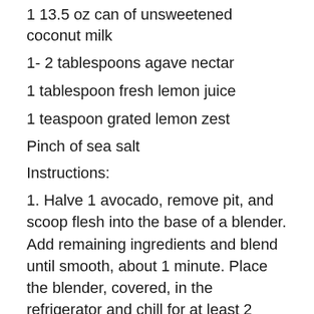1 13.5 oz can of unsweetened coconut milk
1- 2 tablespoons agave nectar
1 tablespoon fresh lemon juice
1 teaspoon grated lemon zest
Pinch of sea salt
Instructions:
1. Halve 1 avocado, remove pit, and scoop flesh into the base of a blender. Add remaining ingredients and blend until smooth, about 1 minute. Place the blender, covered, in the refrigerator and chill for at least 2 hours. Transfer mixture to an ice cream maker and follow manufacturer instructions. It takes about 15 – 20 minutes until mixture is frozen and resembles soft-serve ice cream. Transfer to an air tight container